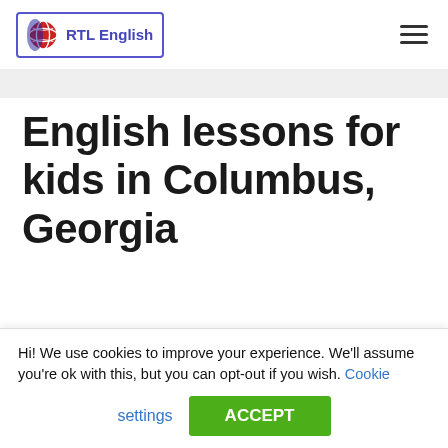[Figure (logo): RTL English logo with globe icon and blue border]
English lessons for kids in Columbus, Georgia
by Tara Taylor
Hi! We use cookies to improve your experience. We'll assume you're ok with this, but you can opt-out if you wish. Cookie settings ACCEPT